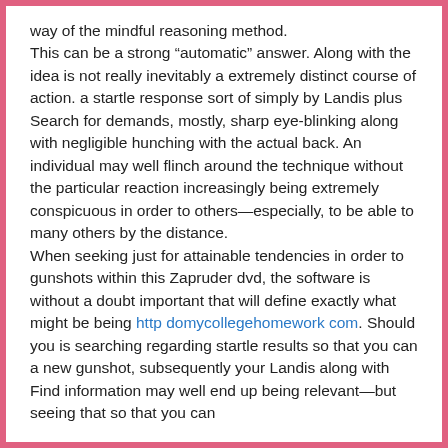way of the mindful reasoning method. This can be a strong “automatic” answer. Along with the idea is not really inevitably a extremely distinct course of action. a startle response sort of simply by Landis plus Search for demands, mostly, sharp eye-blinking along with negligible hunching with the actual back. An individual may well flinch around the technique without the particular reaction increasingly being extremely conspicuous in order to others—especially, to be able to many others by the distance.
When seeking just for attainable tendencies in order to gunshots within this Zapruder dvd, the software is without a doubt important that will define exactly what might be being http domycollegehomework com. Should you is searching regarding startle results so that you can a new gunshot, subsequently your Landis along with Find information may well end up being relevant—but seeing that so that you can